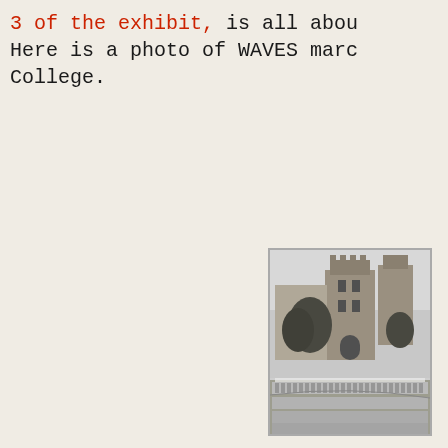3 of the exhibit, is all about... Here is a photo of WAVES marching... College.
[Figure (photo): Black and white photograph of WAVES marching in formation in front of a large Gothic collegiate building, likely Lehman College. Rows of uniformed women are visible with a large stone building with towers in the background.]
[WAVES marching]. Courtesy of Lehman College, CUNY. Special Collections,